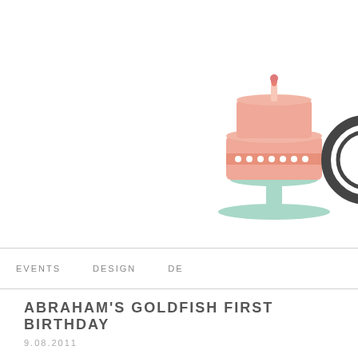[Figure (illustration): Blog logo with a peach/pink illustrated cake on a mint green cake stand, and a partial circle element to the right, on white background]
EVENTS   DESIGN   DE
ABRAHAM'S GOLDFISH FIRST BIRTHDAY
9.08.2011
I love when photographers celebrate their children's birthdays... they're the lens so the details get captured just right.  In addition to her beautiful is a brilliant DiYer.  She designed and crafted this goldfish themed first b invitations to cake... and as it happens she's also the bride behind one